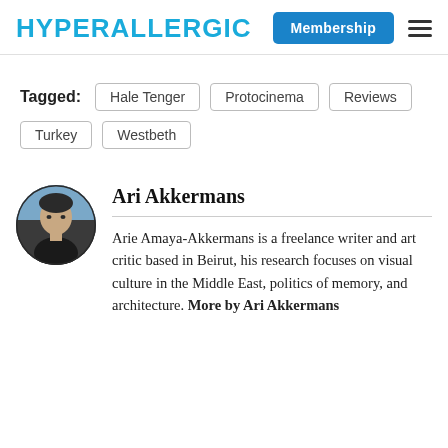HYPERALLERGIC  Membership ☰
Tagged:  Hale Tenger  Protocinema  Reviews  Turkey  Westbeth
[Figure (photo): Circular avatar photo of Ari Akkermans, a man wearing a dark jacket, outdoor background.]
Ari Akkermans
Arie Amaya-Akkermans is a freelance writer and art critic based in Beirut, his research focuses on visual culture in the Middle East, politics of memory, and architecture. More by Ari Akkermans